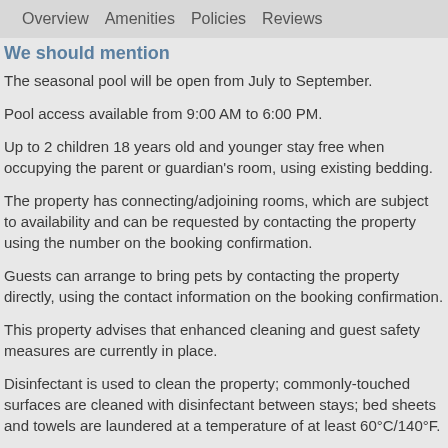Overview   Amenities   Policies   Reviews
We should mention
The seasonal pool will be open from July to September.
Pool access available from 9:00 AM to 6:00 PM.
Up to 2 children 18 years old and younger stay free when occupying the parent or guardian's room, using existing bedding.
The property has connecting/adjoining rooms, which are subject to availability and can be requested by contacting the property using the number on the booking confirmation.
Guests can arrange to bring pets by contacting the property directly, using the contact information on the booking confirmation.
This property advises that enhanced cleaning and guest safety measures are currently in place.
Disinfectant is used to clean the property; commonly-touched surfaces are cleaned with disinfectant between stays; bed sheets and towels are laundered at a temperature of at least 60°C/140°F.